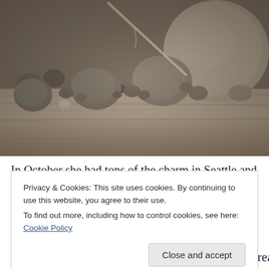[Figure (photo): Sepia-toned photograph of smooth river stones and pebbles of various sizes arranged on weathered driftwood. Stones range from small pebbles to large rounded rocks in gray and beige tones. A stick or twig is visible among the stones. The driftwood has a pale, weathered texture with cracks and grain lines.]
In October she had tons of the charm in Seattle and
Privacy & Cookies: This site uses cookies. By continuing to use this website, you agree to their use.
To find out more, including how to control cookies, see here: Cookie Policy
Close and accept
another wounded mother. His tender heart didn't really